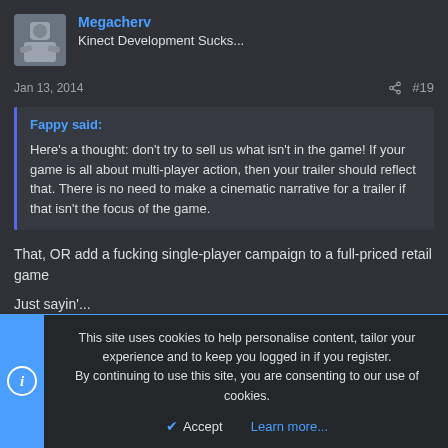Megacherv
Kinect Development Sucks...
Jan 13, 2014  #19
Fappy said:
Here's a thought: don't try to sell us what isn't in the game! If your game is all about multi-player action, then your trailer should reflect that. There is no need to make a cinematic narrative for a trailer if that isn't the focus of the game.
That, OR add a fucking single-player campaign to a full-priced retail game
Just sayin'...
This site uses cookies to help personalise content, tailor your experience and to keep you logged in if you register.
By continuing to use this site, you are consenting to our use of cookies.
Accept  Learn more...